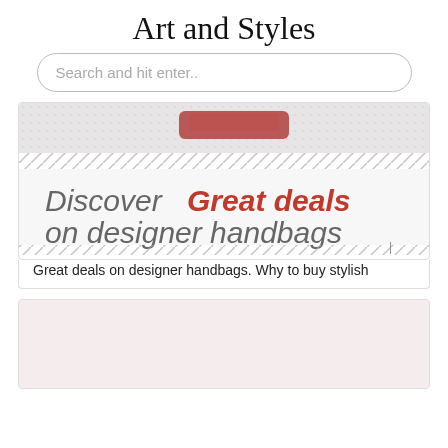Art and Styles
Search and hit enter..
[Figure (screenshot): Banner image showing text 'Discover Great deals on designer handbags' with a product image partially visible at top, on a light textured background with diagonal stripe borders]
Great deals on designer handbags. Why to buy stylish
[Figure (photo): Second card with pinkish/beige background, content not fully visible]